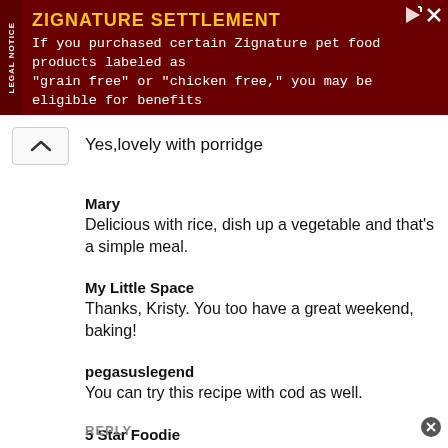[Figure (infographic): Advertisement banner for Zignature Settlement. Dark red background with 'LEGAL NOTICE' text rotated vertically on left side. Bold yellow title 'ZIGNATURE SETTLEMENT' followed by white text: 'If you purchased certain Zignature pet food products labeled as "grain free" or "chicken free," you may be eligible for benefits'. Small navigation/close icons in top right.]
Yes,lovely with porridge
Mary
Delicious with rice, dish up a vegetable and that's a simple meal.
My Little Space
Thanks, Kristy. You too have a great weekend, baking!
pegasuslegend
You can try this recipe with cod as well.
5 Star Foodie
Yes, it is.
REPLY